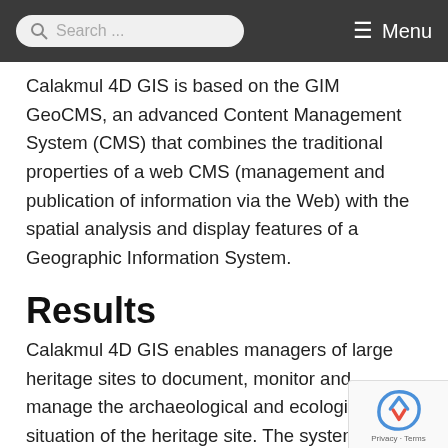Search ...    ≡ Menu
Calakmul 4D GIS is based on the GIM GeoCMS, an advanced Content Management System (CMS) that combines the traditional properties of a web CMS (management and publication of information via the Web) with the spatial analysis and display features of a Geographic Information System.
Results
Calakmul 4D GIS enables managers of large heritage sites to document, monitor and manage the archaeological and ecological situation of the heritage site. The system features a virtual visit to the site as well as support for the time dimensi... special module was recently created to compile